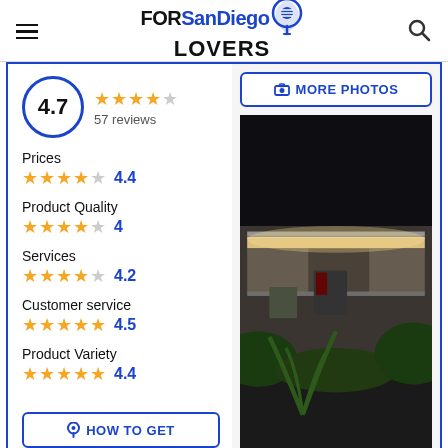FORSanDiego LOVERS
4.7 | 57 reviews
Prices ★★★★☆ 4.4
Product Quality ★★★★☆ 4
Services ★★★★☆ 4.2
Customer service ★★★★½ 4.5
Product Variety ★★★★½ 4.4
[Figure (photo): Exterior photo of a store/gas station at night with illuminated facade]
MORE PHOTOS
HOW TO GET